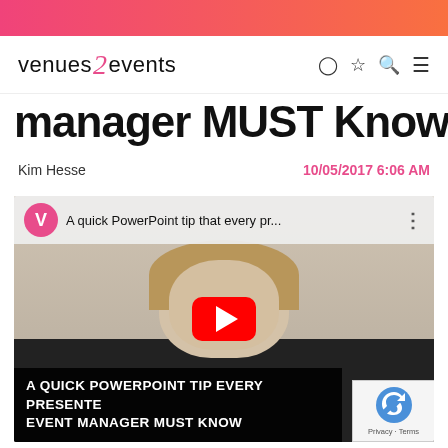venues2events
manager MUST Know
Kim Hesse
10/05/2017 6:06 AM
[Figure (screenshot): YouTube video embed showing a woman with long hair, with a red YouTube play button in the center. Title bar reads: 'A quick PowerPoint tip that every pr...'. Bottom caption reads: 'A QUICK POWERPOINT TIP EVERY PRESENTER EVENT MANAGER MUST KNOW'. A reCAPTCHA badge is visible in the bottom right.]